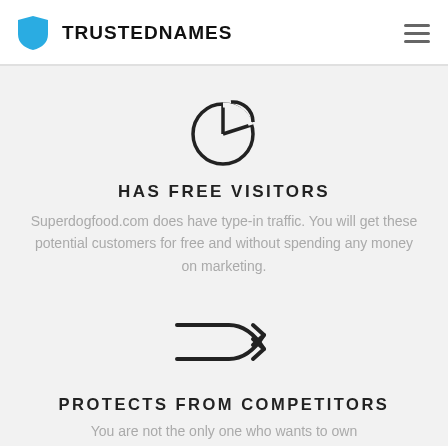TRUSTEDNAMES
[Figure (illustration): Pie chart icon (outline style) with a slice cut out, representing free visitors/traffic analytics]
HAS FREE VISITORS
Superdogfood.com does have type-in traffic. You will get these potential customers for free and without spending any money on marketing.
[Figure (illustration): Shuffle/cross arrows icon representing protection from competitors]
PROTECTS FROM COMPETITORS
You are not the only one who wants to own